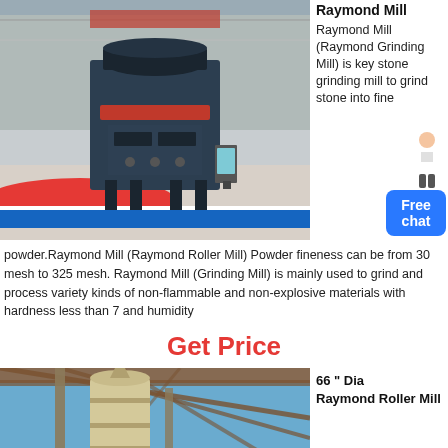[Figure (photo): Large industrial Raymond Mill grinding machine on display in a factory/exhibition hall, painted dark grey with a red ring, sitting on a red and blue platform.]
Raymond Mill
Raymond Mill (Raymond Grinding Mill) is key stone grinding mill to grind stone into fine powder.Raymond Mill (Raymond Roller Mill) Powder fineness can be from 30 mesh to 325 mesh. Raymond Mill (Grinding Mill) is mainly used to grind and process variety kinds of non-flammable and non-explosive materials with hardness less than 7 and humidity
Get Price
[Figure (photo): Raymond Roller Mill industrial equipment photographed from below against a blue sky, showing the tall cylindrical structure and supporting framework.]
66 " Dia Raymond Roller Mill